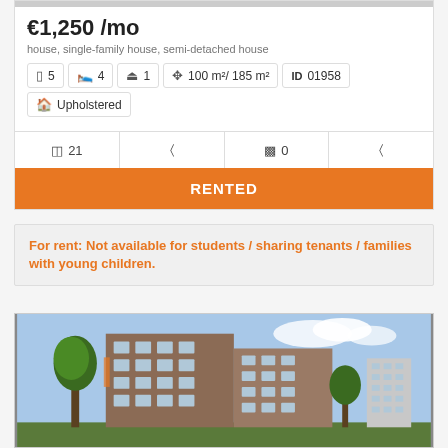€1,250 /mo
house, single-family house, semi-detached house
| [rooms icon] 5 | [bed icon] 4 | [bath icon] 1 | [size icon] 100 m²/ 185 m² | ID 01958 |
| [home icon] Upholstered |
[photo icon] 21   [arrow icon]   [film icon] 0   [arrow icon]
RENTED
For rent: Not available for students / sharing tenants / families with young children.
[Figure (photo): Exterior photo of a multi-story brick apartment building with trees in foreground and blue sky background]